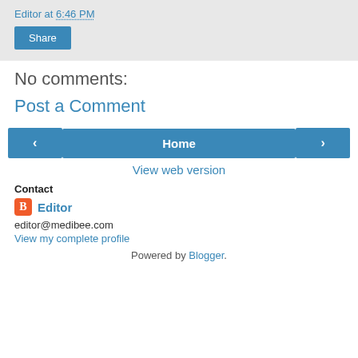Editor at 6:46 PM
Share
No comments:
Post a Comment
< Home >
View web version
Contact
Editor
editor@medibee.com
View my complete profile
Powered by Blogger.